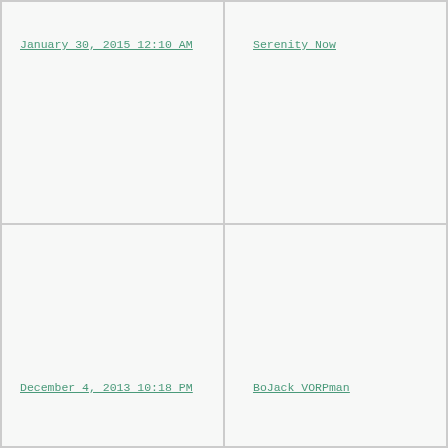January 30, 2015 12:10 AM
Serenity Now
December 4, 2013 10:18 PM
BoJack VORPman